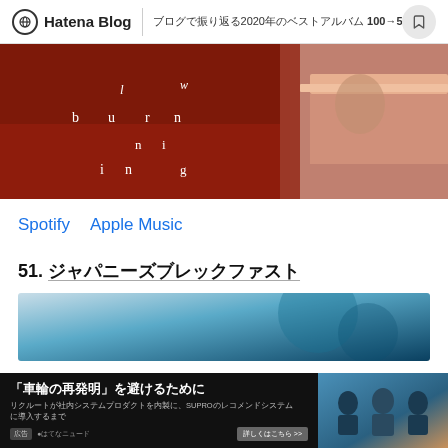Hatena Blog | ブログで振り返る2020年のベストアルバム 100→51
[Figure (photo): Dark red/brown toned photo with scattered letters spelling 'burning' in white gothic font, person sitting at a table visible on right side]
Spotify    Apple Music
51. ジャパニーズブレックファスト
[Figure (photo): Underwater or ocean scene with blue/teal gradient tones, partially visible]
[Figure (photo): Advertisement banner: 車輪の再発明 を避けるために with group photo of three people]